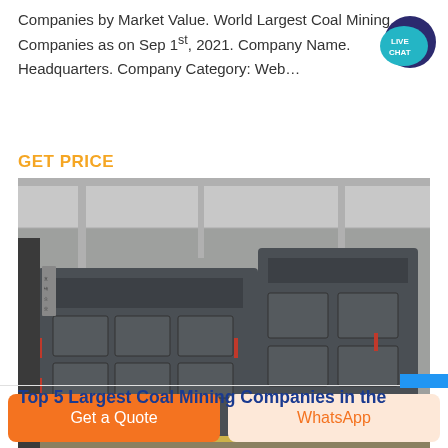Companies by Market Value. World Largest Coal Mining Companies as on Sep 1st, 2021. Company Name. Headquarters. Company Category: Web…
[Figure (logo): Live Chat speech bubble icon in teal/dark blue]
GET PRICE
[Figure (photo): Industrial coal mining machine/crusher in a factory warehouse setting, grey heavy machinery]
Top 5 Largest Coal Mining Companies in the
Get a Quote
WhatsApp